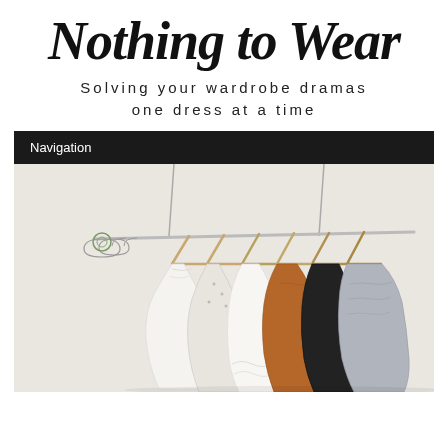Nothing to Wear
Solving your wardrobe dramas one dress at a time
Navigation
[Figure (photo): A minimalist clothing rack suspended from the ceiling with wire hangers and wooden hangers, holding various garments including white, patterned, rust/brown, black, and grey clothing items arranged from light to dark, against a light cream/white wall background.]